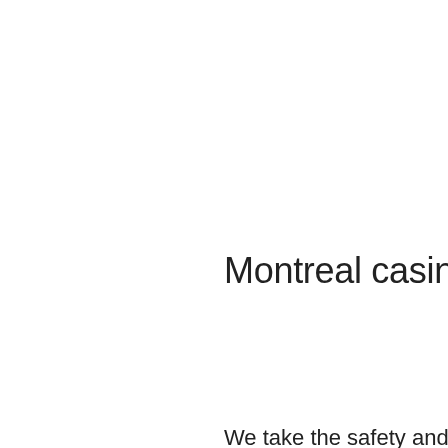Montreal casino poker bad beat jackpot
We take the safety and security of our players extremely seriously, and this is one of the main reasons why so many people continue to play at mobile casinos. PLAY AT MOBILE CASINO TODAY! The number one mobile casino for players not just in the UK, but in many other places throughout the world, montreal casino poker bad beat jackpot. With absolutely loads of games for you to enjoy, high-quality customer service, and some fantastic bonuses and promotions on offer, we truly offer everything you could